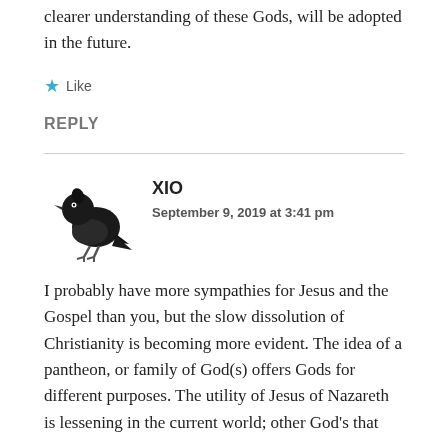clearer understanding of these Gods, will be adopted in the future.
★ Like
REPLY
[Figure (illustration): Small black bird avatar illustration facing left]
XIO
September 9, 2019 at 3:41 pm
I probably have more sympathies for Jesus and the Gospel than you, but the slow dissolution of Christianity is becoming more evident. The idea of a pantheon, or family of God(s) offers Gods for different purposes. The utility of Jesus of Nazareth is lessening in the current world; other God's that